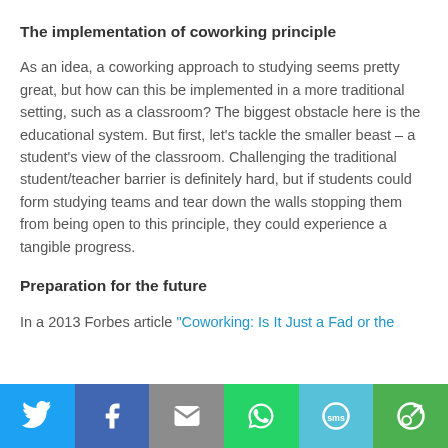The implementation of coworking principle
As an idea, a coworking approach to studying seems pretty great, but how can this be implemented in a more traditional setting, such as a classroom? The biggest obstacle here is the educational system. But first, let's tackle the smaller beast – a student's view of the classroom. Challenging the traditional student/teacher barrier is definitely hard, but if students could form studying teams and tear down the walls stopping them from being open to this principle, they could experience a tangible progress.
Preparation for the future
In a 2013 Forbes article “Coworking: Is It Just a Fad or the
[Figure (infographic): Social sharing bar with Twitter, Facebook, Email, WhatsApp, SMS, and More buttons]